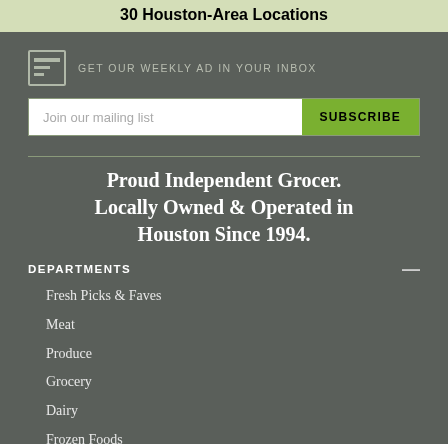30 Houston-Area Locations
GET OUR WEEKLY AD IN YOUR INBOX
Join our mailing list  SUBSCRIBE
Proud Independent Grocer. Locally Owned & Operated in Houston Since 1994.
DEPARTMENTS
Fresh Picks & Faves
Meat
Produce
Grocery
Dairy
Frozen Foods